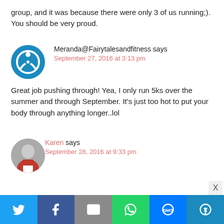group, and it was because there were only 3 of us running;). You should be very proud.
Meranda@Fairytalesandfitness says
September 27, 2016 at 3:13 pm
Great job pushing through! Yea, I only run 5ks over the summer and through September. It’s just too hot to put your body through anything longer..lol
Karen says
September 28, 2016 at 9:33 pm